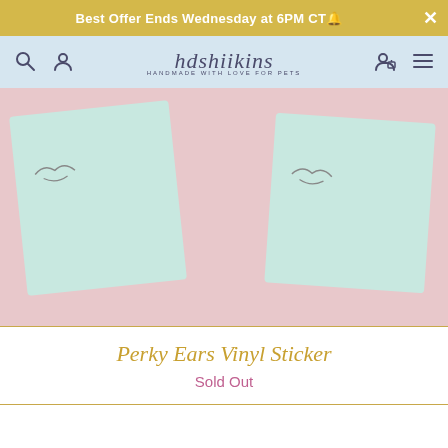Best Offer Ends Wednesday at 6PM CT🔔
[Figure (screenshot): Website navigation bar for hdshiikins with search icon, account icon, brand logo in cursive, cart icon, and menu icon on a light blue background]
[Figure (photo): Product photo showing two mint green vinyl sticker cards with cat ear line art illustrations against a pink background]
Perky Ears Vinyl Sticker
Sold Out